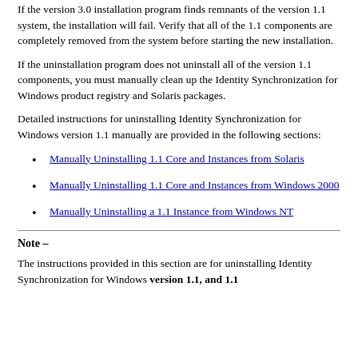If the version 3.0 installation program finds remnants of the version 1.1 system, the installation will fail. Verify that all of the 1.1 components are completely removed from the system before starting the new installation.
If the uninstallation program does not uninstall all of the version 1.1 components, you must manually clean up the Identity Synchronization for Windows product registry and Solaris packages.
Detailed instructions for uninstalling Identity Synchronization for Windows version 1.1 manually are provided in the following sections:
Manually Uninstalling 1.1 Core and Instances from Solaris
Manually Uninstalling 1.1 Core and Instances from Windows 2000
Manually Uninstalling a 1.1 Instance from Windows NT
Note –
The instructions provided in this section are for uninstalling Identity Synchronization for Windows version 1.1, and 1.1